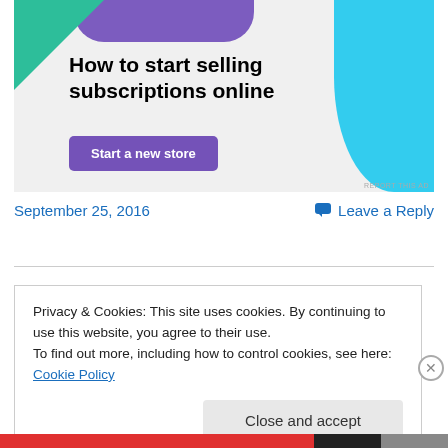[Figure (illustration): Advertisement banner with purple and teal geometric shapes, headline 'How to start selling subscriptions online', and a purple 'Start a new store' button on a light gray background.]
September 25, 2016
Leave a Reply
Privacy & Cookies: This site uses cookies. By continuing to use this website, you agree to their use.
To find out more, including how to control cookies, see here: Cookie Policy
Close and accept